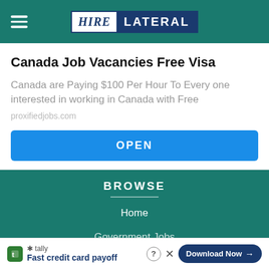HIRE LATERAL
Canada Job Vacancies Free Visa
Canada are Paying $100 Per Hour To Every one interested in working in Canada with Free
proxifiedjobs.com
OPEN
BROWSE
Home
Government Jobs
tally Fast credit card payoff  Download Now →